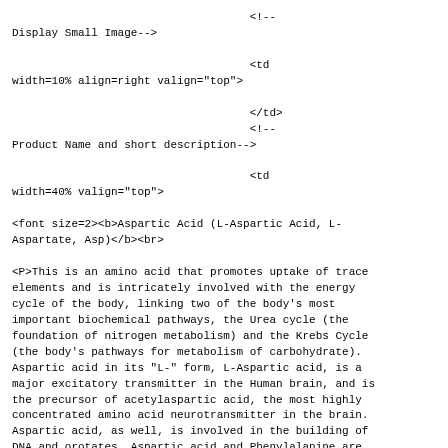<!-- Display Small Image-->

<td width=10% align=right valign="top">

</td>
<!-- Product Name and short description-->

<td width=40% valign="top">

<font size=2><b>Aspartic Acid (L-Aspartic Acid, L-Aspartate, Asp)</b><br>

<P>This is an amino acid that promotes uptake of trace elements and is intricately involved with the energy cycle of the body, linking two of the body's most important biochemical pathways, the Urea cycle (the foundation of nitrogen metabolism) and the Krebs Cycle (the body's pathways for metabolism of carbohydrate). Aspartic acid in its "L-" form, L-Aspartic acid, is a major excitatory transmitter in the Human brain, and is the precursor of acetylaspartic acid, the most highly concentrated amino acid neurotransmitter in the brain. Aspartic acid, as well, is involved in the building of DNA and orotates. Aspartic acid and Phenylalanine are the amino acids which make up Aspartame, the new artificially derived "amino acid," which is now used commonly as a sweetener.</P>